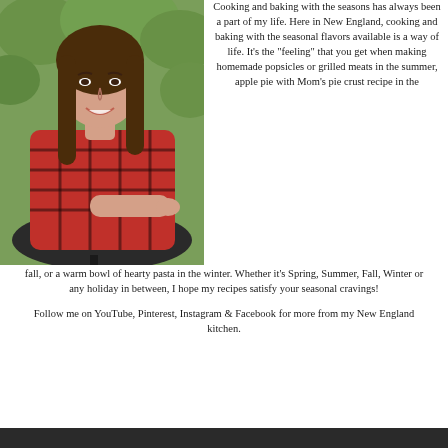[Figure (photo): Young woman with long brown hair, wearing a red and black plaid shirt, sitting at an outdoor metal table with a wooden cutting board with food, a wine glass with red wine, in an outdoor vineyard or garden setting.]
Cooking and baking with the seasons has always been a part of my life. Here in New England, cooking and baking with the seasonal flavors available is a way of life. It's the "feeling" that you get when making homemade popsicles or grilled meats in the summer, apple pie with Mom's pie crust recipe in the fall, or a warm bowl of hearty pasta in the winter. Whether it's Spring, Summer, Fall, Winter or any holiday in between, I hope my recipes satisfy your seasonal cravings!
Follow me on YouTube, Pinterest, Instagram & Facebook for more from my New England kitchen.